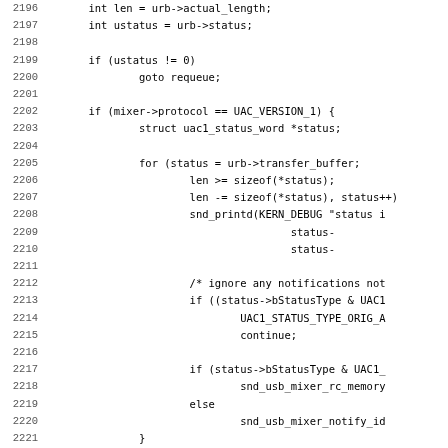Source code listing, lines 2196–2227, showing USB audio mixer interrupt handler in C